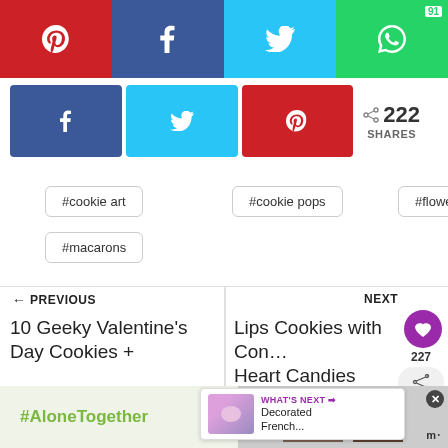[Figure (screenshot): Top social sharing bar with Pinterest (red), Facebook (dark blue), Twitter (light blue), WhatsApp (green) buttons]
[Figure (screenshot): Second row social sharing buttons: Facebook, Twitter, Pinterest with 222 SHARES count]
#cookie art
#cookie pops
#flowers
#macarons
← PREVIOUS
10 Geeky Valentine's Day Cookies +
NEXT
Lips Cookies with Con… Heart Candies
[Figure (screenshot): What's Next overlay: Decorated French... with thumbnail]
[Figure (screenshot): Ad banner: #AloneTogether with image of people and Merriam-Webster logo]